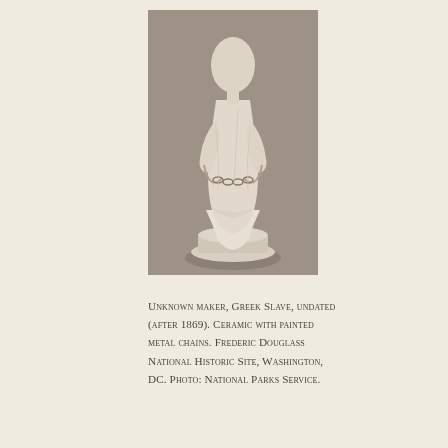[Figure (photo): A photograph of a ceramic sculpture of a standing female figure (Greek Slave), wearing draped fabric, with hands chained, on a rounded base. The figure is light cream/white ceramic against a gray-brown background.]
Unknown maker, Greek Slave, undated (after 1869). Ceramic with painted metal chains. Frederic Douglass National Historic Site, Washington, DC. Photo: National Parks Service.